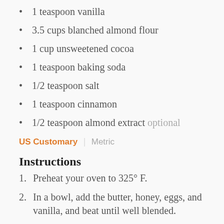1 teaspoon vanilla
3.5 cups blanched almond flour
1 cup unsweetened cocoa
1 teaspoon baking soda
1/2 teaspoon salt
1 teaspoon cinnamon
1/2 teaspoon almond extract optional
US Customary | Metric
Instructions
1. Preheat your oven to 325° F.
2. In a bowl, add the butter, honey, eggs, and vanilla, and beat until well blended.
3. In a separate bowl, add all the dry ingredients and mix until well blended.